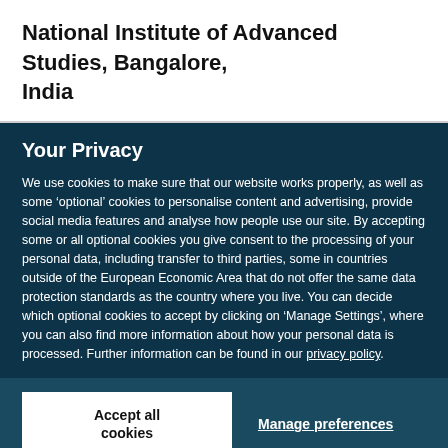National Institute of Advanced Studies, Bangalore, India
Your Privacy
We use cookies to make sure that our website works properly, as well as some ‘optional’ cookies to personalise content and advertising, provide social media features and analyse how people use our site. By accepting some or all optional cookies you give consent to the processing of your personal data, including transfer to third parties, some in countries outside of the European Economic Area that do not offer the same data protection standards as the country where you live. You can decide which optional cookies to accept by clicking on ‘Manage Settings’, where you can also find more information about how your personal data is processed. Further information can be found in our privacy policy.
Accept all cookies
Manage preferences